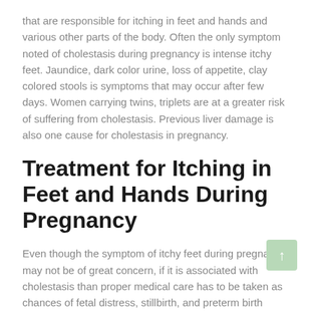that are responsible for itching in feet and hands and various other parts of the body. Often the only symptom noted of cholestasis during pregnancy is intense itchy feet. Jaundice, dark color urine, loss of appetite, clay colored stools is symptoms that may occur after few days. Women carrying twins, triplets are at a greater risk of suffering from cholestasis. Previous liver damage is also one cause for cholestasis in pregnancy.
Treatment for Itching in Feet and Hands During Pregnancy
Even though the symptom of itchy feet during pregnancy may not be of great concern, if it is associated with cholestasis than proper medical care has to be taken as chances of fetal distress, stillbirth, and preterm birth increases.
To relive itching in feet and hands;